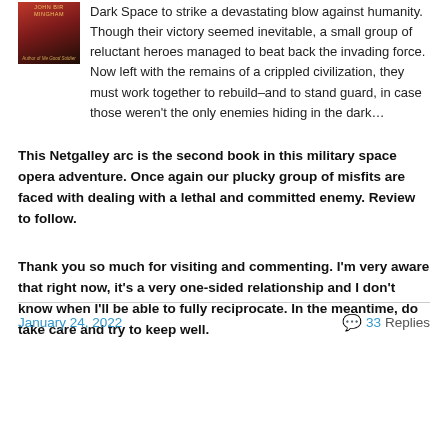Dark Space to strike a devastating blow against humanity. Though their victory seemed inevitable, a small group of reluctant heroes managed to beat back the invading force. Now left with the remains of a crippled civilization, they must work together to rebuild–and to stand guard, in case those weren't the only enemies hiding in the dark…
This Netgalley arc is the second book in this military space opera adventure. Once again our plucky group of misfits are faced with dealing with a lethal and committed enemy. Review to follow.
Thank you so much for visiting and commenting. I'm very aware that right now, it's a very one-sided relationship and I don't know when I'll be able to fully reciprocate. In the meantime, do take care and try to keep well.
January 24, 2022   💬 33 Replies